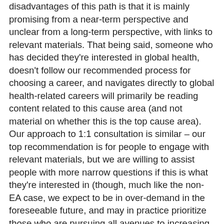disadvantages of this path is that it is mainly promising from a near-term perspective and unclear from a long-term perspective, with links to relevant materials. That being said, someone who has decided they're interested in global health, doesn't follow our recommended process for choosing a career, and navigates directly to global health-related careers will primarily be reading content related to this cause area (and not material on whether this is the top cause area). Our approach to 1:1 consultation is similar – our top recommendation is for people to engage with relevant materials, but we are willing to assist people with more narrow questions if this is what they're interested in (though, much like the non-EA case, we expect to be in over-demand in the foreseeable future, and may in practice prioritize those who are pursuing all avenues to increasing their impact).
Hope this provides at least some clarity, and let me know if you have other questions.
Reply